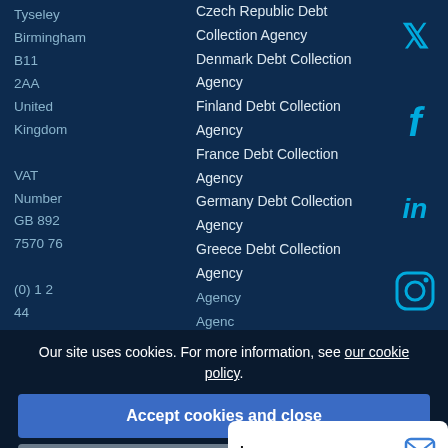Tyseley
Birmingham
B11
2AA
United
Kingdom
VAT
Number
GB 892
7570 76
Czech Republic Debt Collection Agency
Denmark Debt Collection Agency
Finland Debt Collection Agency
France Debt Collection Agency
Germany Debt Collection Agency
Greece Debt Collection Agency
Our site uses cookies. For more information, see our cookie policy.
Accept cookies and close
Reject cooki...
Leave a message